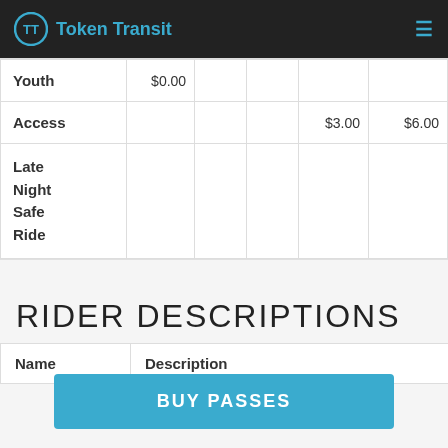Token Transit
| Youth | $0.00 |  |  |  |  |
| Access |  |  |  | $3.00 | $6.00 |
| Late Night Safe Ride |  |  |  |  |  |
RIDER DESCRIPTIONS
| Name | Description |
| --- | --- |